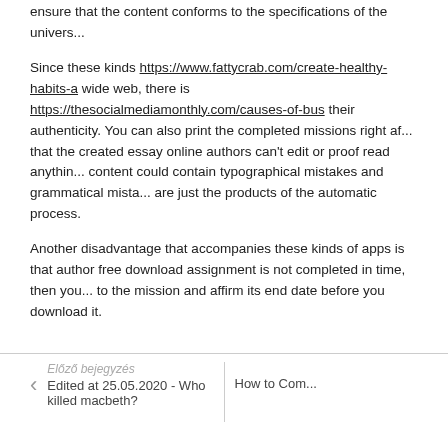ensure that the content conforms to the specifications of the university. Since these kinds https://www.fattycrab.com/create-healthy-habits-a wide web, there is https://thesocialmediamonthly.com/causes-of-bus their authenticity. You can also print the completed missions right after that the created essay online authors can't edit or proof read anything content could contain typographical mistakes and grammatical mistakes are just the products of the automatic process.
Another disadvantage that accompanies these kinds of apps is that author free download assignment is not completed in time, then you to the mission and affirm its end date before you download it.
Előző bejegyzés | Edited at 25.05.2020 - Who killed macbeth? | How to Com...
Mi a véleményed?